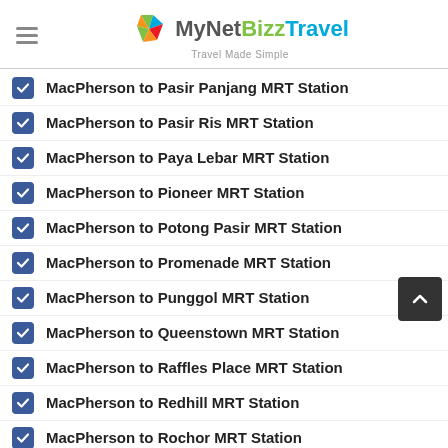[Figure (logo): MyNetBizzTravel logo with tagline 'Travel Made Simple']
MacPherson to Pasir Panjang MRT Station
MacPherson to Pasir Ris MRT Station
MacPherson to Paya Lebar MRT Station
MacPherson to Pioneer MRT Station
MacPherson to Potong Pasir MRT Station
MacPherson to Promenade MRT Station
MacPherson to Punggol MRT Station
MacPherson to Queenstown MRT Station
MacPherson to Raffles Place MRT Station
MacPherson to Redhill MRT Station
MacPherson to Rochor MRT Station